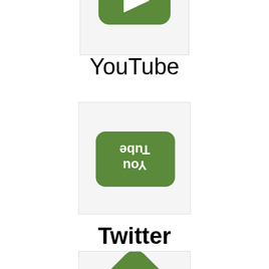[Figure (logo): Partial green YouTube-style icon at top of page, cropped]
YouTube
[Figure (logo): Green YouTube icon rotated 180 degrees upside down, showing 'YouTube' text inverted]
Twitter
[Figure (logo): Partial green Twitter bird diamond icon at bottom of page, cropped]